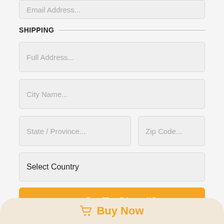Email Address...
SHIPPING
Full Address...
City Name...
State / Province...
Zip Code...
Select Country
→  Go To Step #2
🛒  Buy Now